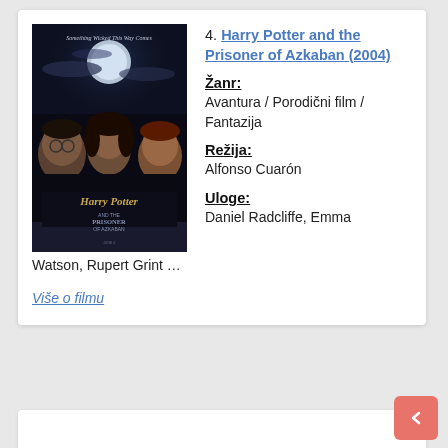[Figure (photo): Movie poster for Harry Potter and the Prisoner of Azkaban (2004). Shows three young characters (Harry, Hermione, Ron) against a dark stormy night sky with a full moon. Text reads 'Something Wicked This Way Comes' at top and 'Harry Potter and the Prisoner of Azkaban' logo at bottom.]
4. Harry Potter and the Prisoner of Azkaban (2004)
Žanr:
Avantura / Porodični film / Fantazija
Režija:
Alfonso Cuarón
Uloge:
Daniel Radcliffe, Emma Watson, Rupert Grint …
Više o filmu